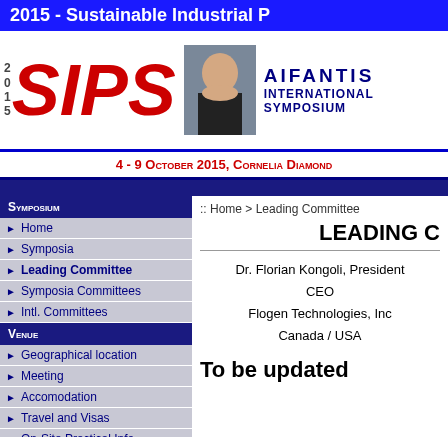2015 - Sustainable Industrial P
[Figure (logo): 2015 SIPS logo with red italic SIPS text, person photo, and AIFANTIS INTERNATIONAL SYMPOSIUM text]
4 - 9 October 2015, Cornelia Diamond
Symposium
Home
Symposia
Leading Committee
Symposia Committees
Intl. Committees
Venue
Geographical location
Meeting
Accomodation
Travel and Visas
On-Site Practical Info
Tourism
Information
:: Home > Leading Committee
LEADING C
Dr. Florian Kongoli, President
CEO
Flogen Technologies, Inc
Canada / USA
To be updated